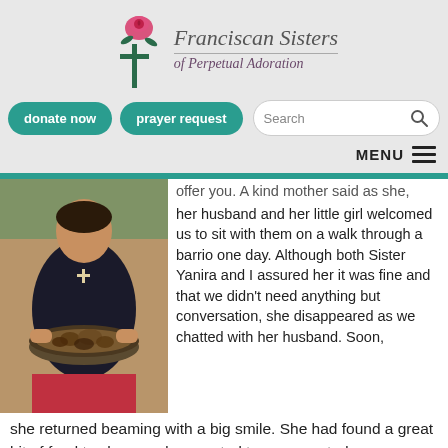Franciscan Sisters of Perpetual Adoration
donate now   prayer request   Search   MENU
[Figure (photo): Person holding a round tray or bowl filled with roasted food, wearing a cross necklace, outside with trees in background]
offer you. A kind mother said as she, her husband and her little girl welcomed us to sit with them on a walk through a barrio one day. Although both Sister Yanira and I assured her it was fine and that we didn't need anything but conversation, she disappeared as we chatted with her husband. Soon, she returned beaming with a big smile. She had found a great bit of food to share and presented to us a roasted